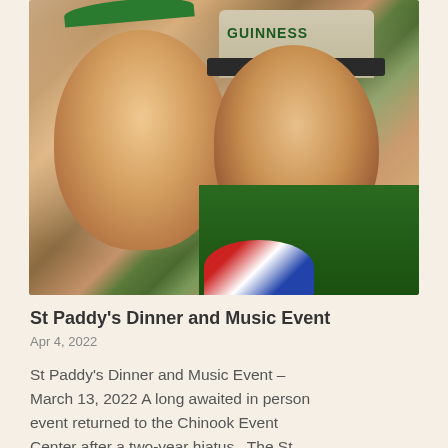[Figure (photo): Two people smiling together. On the left, a woman with blonde hair wearing glasses and green shamrock headband/antlers. On the right, a man with glasses wearing a Guinness baseball cap, green shirt, and American flag neck gaiter. St. Patrick's Day themed photo.]
St Paddy's Dinner and Music Event
Apr 4, 2022
St Paddy's Dinner and Music Event – March 13, 2022 A long awaited in person event returned to the Chinook Event Center after a two-year hiatus.  The St